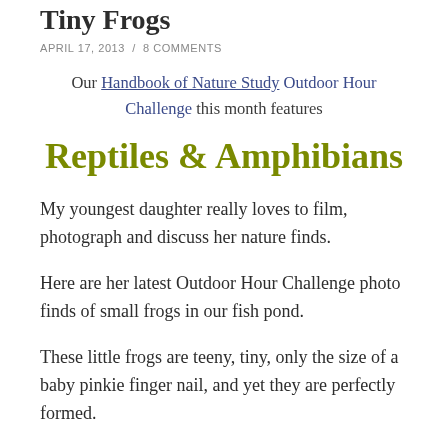Tiny Frogs
APRIL 17, 2013  /  8 COMMENTS
Our Handbook of Nature Study Outdoor Hour Challenge this month features
Reptiles & Amphibians
My youngest daughter really loves to film, photograph and discuss her nature finds.
Here are her latest Outdoor Hour Challenge photo finds of small frogs in our fish pond.
These little frogs are teeny, tiny, only the size of a baby pinkie finger nail, and yet they are perfectly formed.